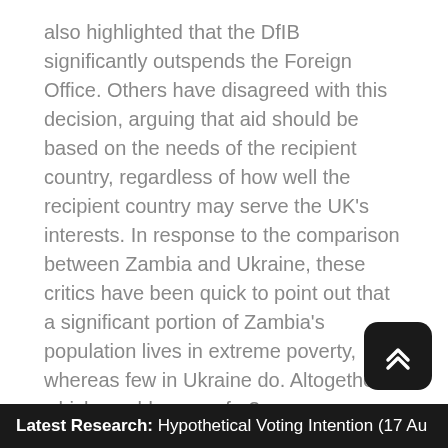also highlighted that the DfIB significantly outspends the Foreign Office. Others have disagreed with this decision, arguing that aid should be based on the needs of the recipient country, regardless of how well the recipient country may serve the UK's interests. In response to the comparison between Zambia and Ukraine, these critics have been quick to point out that a significant portion of Zambia's population lives in extreme poverty, whereas few in Ukraine do. Altogether, which would you prefer?
[Figure (other): Navigation bar with left arrow button, 'All Respondents' dropdown in center, and right arrow button]
[Figure (other): Back to top button — dark rounded square with double chevron up arrow]
Latest Research: Hypothetical Voting Intention (17 Au